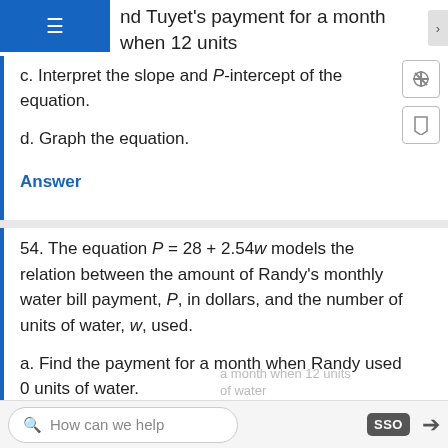nd Tuyet's payment for a month when 12 units of water are used.
c. Interpret the slope and P-intercept of the equation.
d. Graph the equation.
Answer
54. The equation P = 28 + 2.54w models the relation between the amount of Randy's monthly water bill payment, P, in dollars, and the number of units of water, w, used.
a. Find the payment for a month when Randy used 0 units of water.